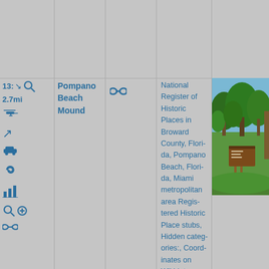13: ↘ 2.7mi 🚁 ↗ 🚗 ◎ 📊 🔍 ⊕ 🔗
Pompano Beach Mound
[Figure (other): Link/chain icon]
National Register of Historic Places in Broward County, Florida, Pompano Beach, Florida, Miami metropolitan area Registered Historic Place stubs, Hidden categories:, Coordinates on Wikidata, Commons category without a link on Wikidata, All stub articles,
[Figure (photo): Outdoor photo showing a park with green grass, trees, and a brown park sign in the foreground. Bright sunny day with blue sky.]